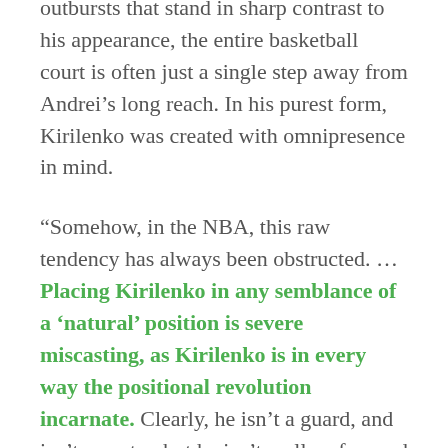outbursts that stand in sharp contrast to his appearance, the entire basketball court is often just a single step away from Andrei's long reach. In his purest form, Kirilenko was created with omnipresence in mind.
“Somehow, in the NBA, this raw tendency has always been obstructed. … Placing Kirilenko in any semblance of a ‘natural’ position is severe miscasting, as Kirilenko is in every way the positional revolution incarnate. Clearly, he isn’t a guard, and isn’t a center, but he isn’t really a forward either – he’s an everything, just tall enough to fit between